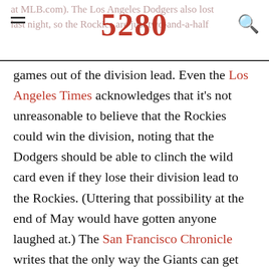at MLB.com). The Los Angeles Dodgers also lost last night, so the Rockies are just two-and-a-half
5280
games out of the division lead. Even the Los Angeles Times acknowledges that it’s not unreasonable to believe that the Rockies could win the division, noting that the Dodgers should be able to clinch the wild card even if they lose their division lead to the Rockies. (Uttering that possibility at the end of May would have gotten anyone laughed at.) The San Francisco Chronicle writes that the only way the Giants can get back into the race is if the Padres beat up on the Rockies and the Giants go 14-8 in their remaining games. Not likely.